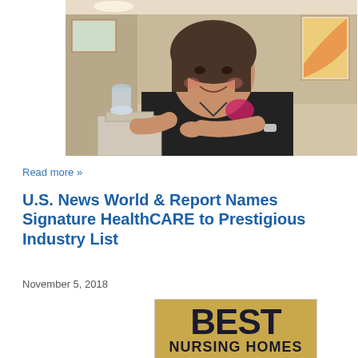[Figure (photo): A smiling woman in dark scrubs with a pink logo, standing in a hallway of a healthcare facility, working at a cart with supplies.]
Read more »
U.S. News World & Report Names Signature HealthCARE to Prestigious Industry List
November 5, 2018
[Figure (logo): Badge with gold background reading BEST NURSING HOMES in bold black text.]